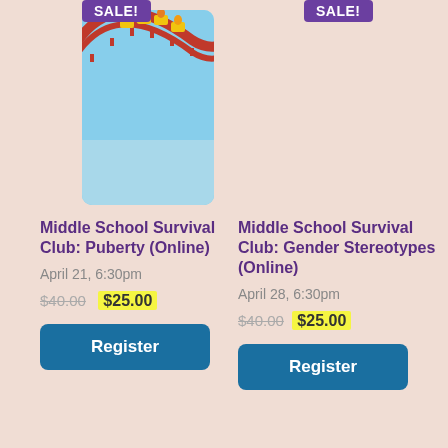[Figure (photo): Roller coaster with red track and riders in yellow seats against blue sky, partially cropped at top]
SALE!
SALE!
Middle School Survival Club: Puberty (Online)
April 21, 6:30pm
$40.00 $25.00
Register
Middle School Survival Club: Gender Stereotypes (Online)
April 28, 6:30pm
$40.00 $25.00
Register